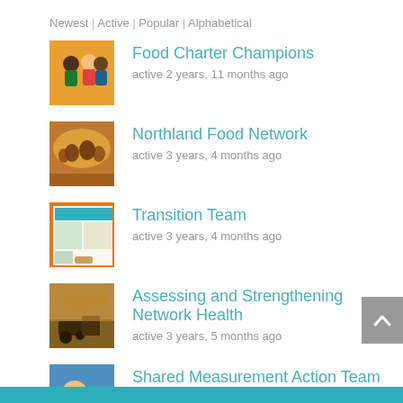Newest | Active | Popular | Alphabetical
Food Charter Champions
active 2 years, 11 months ago
Northland Food Network
active 3 years, 4 months ago
Transition Team
active 3 years, 4 months ago
Assessing and Strengthening Network Health
active 3 years, 5 months ago
Shared Measurement Action Team
active 4 years, 2 months ago